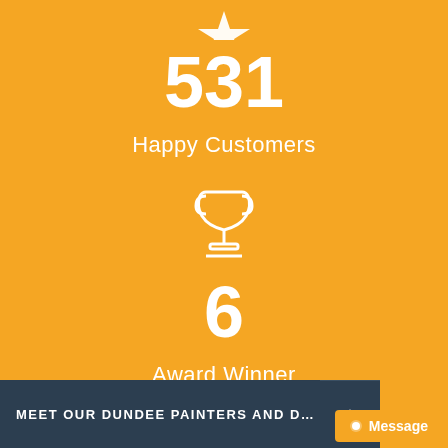[Figure (infographic): Partial star icon at top in white on orange background]
531
Happy Customers
[Figure (illustration): Trophy cup icon in white outline on orange background]
6
Award Winner
MEET OUR DUNDEE PAINTERS AND DECORATORS